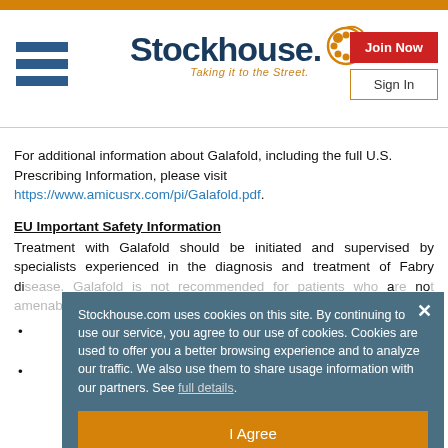[Figure (logo): Stockhouse logo with hamburger menu, logo text 'Stockhouse.' with head/dot icon, tagline 'Taking it to the Street.', and Join Now / Sign In buttons]
For additional information about Galafold, including the full U.S. Prescribing Information, please visit https://www.amicusrx.com/pi/Galafold.pdf.
EU Important Safety Information
Treatment with Galafold should be initiated and supervised by specialists experienced in the diagnosis and treatment of Fabry di... a no...
Stockhouse.com uses cookies on this site. By continuing to use our service, you agree to our use of cookies. Cookies are used to offer you a better browsing experience and to analyze our traffic. We also use them to share usage information with our partners. See full details.